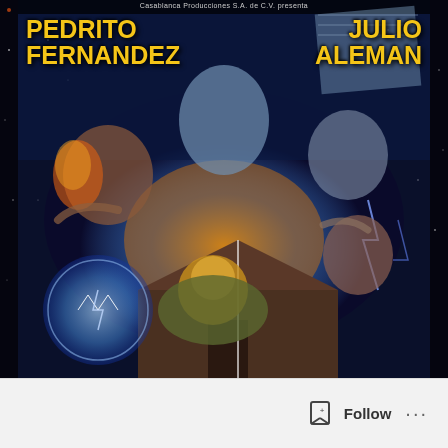[Figure (illustration): Mexican horror/fantasy movie poster featuring illustrated characters including Pedrito Fernandez and Julio Aleman. Shows dramatic scenes with supernatural elements, lightning, glowing orbs, and a wooden house. Top text reads 'Casablanca Producciones S.A. de C.V. presenta'. Actor names displayed in bold yellow: PEDRITO FERNANDEZ top left, JULIO ALEMAN top right.]
Casablanca Producciones S.A. de C.V. presenta
PEDRITO FERNANDEZ
JULIO ALEMAN
[Figure (other): Follow button UI element with bookmark/follow icon and three dots menu]
Follow